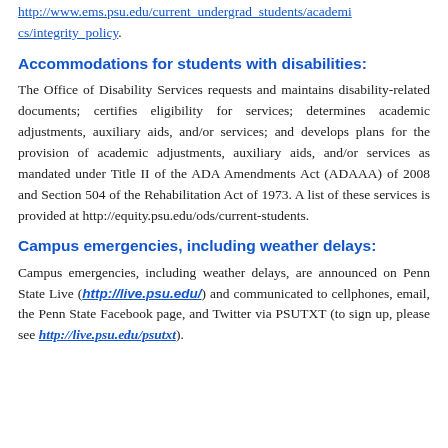http://www.ems.psu.edu/current_undergrad_students/academics/integrity_policy.
Accommodations for students with disabilities:
The Office of Disability Services requests and maintains disability-related documents; certifies eligibility for services; determines academic adjustments, auxiliary aids, and/or services; and develops plans for the provision of academic adjustments, auxiliary aids, and/or services as mandated under Title II of the ADA Amendments Act (ADAAA) of 2008 and Section 504 of the Rehabilitation Act of 1973. A list of these services is provided at http://equity.psu.edu/ods/current-students.
Campus emergencies, including weather delays:
Campus emergencies, including weather delays, are announced on Penn State Live (http://live.psu.edu/) and communicated to cellphones, email, the Penn State Facebook page, and Twitter via PSUTXT (to sign up, please see http://live.psu.edu/psutxt).